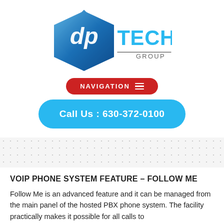[Figure (logo): dp TECH GROUP logo with blue diamond shape and stylized text]
NAVIGATION ☰
Call Us : 630-372-0100
[Figure (other): Dotted/polka-dot decorative background section]
VOIP PHONE SYSTEM FEATURE – FOLLOW ME
Follow Me is an advanced feature and it can be managed from the main panel of the hosted PBX phone system. The facility practically makes it possible for all calls to